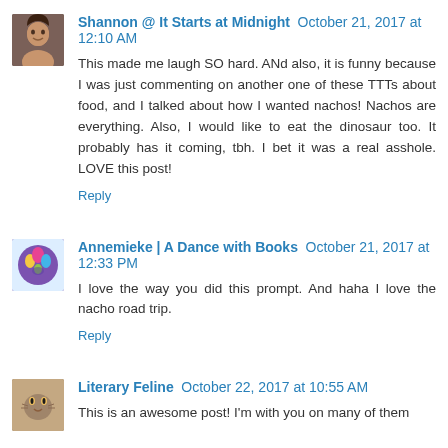Shannon @ It Starts at Midnight — October 21, 2017 at 12:10 AM
This made me laugh SO hard. ANd also, it is funny because I was just commenting on another one of these TTTs about food, and I talked about how I wanted nachos! Nachos are everything. Also, I would like to eat the dinosaur too. It probably has it coming, tbh. I bet it was a real asshole. LOVE this post!
Reply
Annemieke | A Dance with Books — October 21, 2017 at 12:33 PM
I love the way you did this prompt. And haha I love the nacho road trip.
Reply
Literary Feline — October 22, 2017 at 10:55 AM
This is an awesome post! I'm with you on many of them